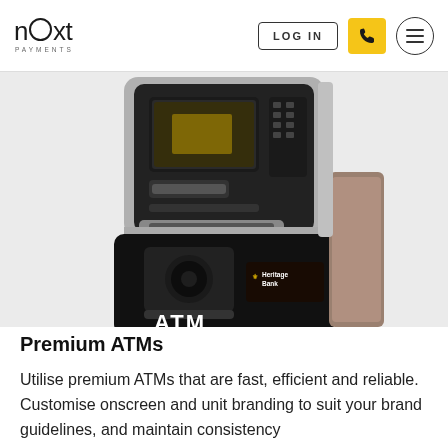next PAYMENTS | LOG IN | [phone] | [menu]
[Figure (photo): A Heritage Bank branded ATM machine photographed at an angle, showing the screen, card reader, cash dispenser, and Heritage Bank ATM branding on the lower front panel. The ATM has a silver/dark metallic finish.]
Premium ATMs
Utilise premium ATMs that are fast, efficient and reliable. Customise onscreen and unit branding to suit your brand guidelines, and maintain consistency